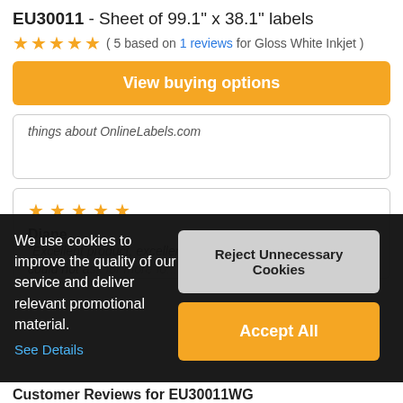EU30011 - Sheet of 99.1" x 38.1" labels
( 5 based on 1 reviews for Gloss White Inkjet )
View buying options
things about OnlineLabels.com
5 stars
Diane
"Excellent product, excellent customer service, could not ask for more fo... and A... ... VERY quickly
We use cookies to improve the quality of our service and deliver relevant promotional material.
See Details
Reject Unnecessary Cookies
Accept All
Customer Reviews for EU30011WG